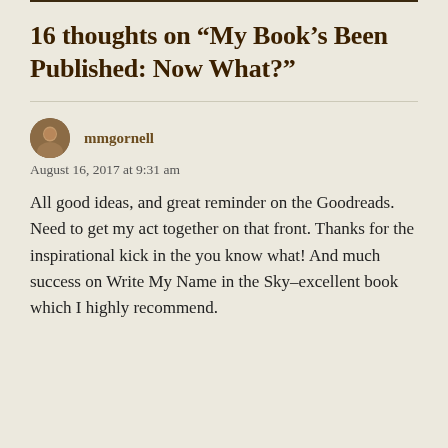16 thoughts on “My Book’s Been Published: Now What?”
mmgornell
August 16, 2017 at 9:31 am
All good ideas, and great reminder on the Goodreads. Need to get my act together on that front. Thanks for the inspirational kick in the you know what! And much success on Write My Name in the Sky–excellent book which I highly recommend.